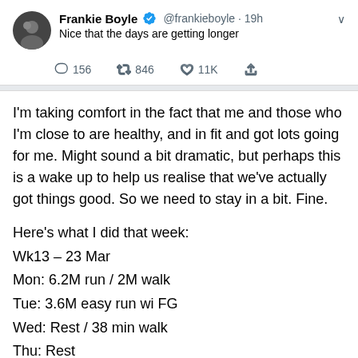Frankie Boyle @frankieboyle · 19h
Nice that the days are getting longer
156 846 11K
I'm taking comfort in the fact that me and those who I'm close to are healthy, and in fit and got lots going for me. Might sound a bit dramatic, but perhaps this is a wake up to help us realise that we've actually got things good. So we need to stay in a bit. Fine.
Here's what I did that week:
Wk13 – 23 Mar
Mon: 6.2M run / 2M walk
Tue: 3.6M easy run wi FG
Wed: Rest / 38 min walk
Thu: Rest